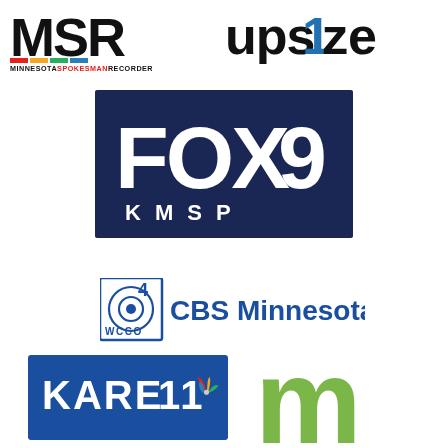[Figure (logo): Minnesota Spokesman-Recorder (MSR) logo with colorful lettering and tagline MINNESOTASPOKESMANRECORDER]
[Figure (logo): Upsize magazine logo in bold black text with blue numeral 1]
[Figure (logo): FOX 9 KMSP television station logo, white bold text on dark navy blue background]
[Figure (logo): WCCO CBS 4 Minnesota logo with CBS eye icon and text CBS Minnesota]
[Figure (logo): KARE 11 television station logo, white text on blue background with NBC peacock icon]
[Figure (logo): Large green letter m logo (MinnPost or similar Minnesota media outlet)]